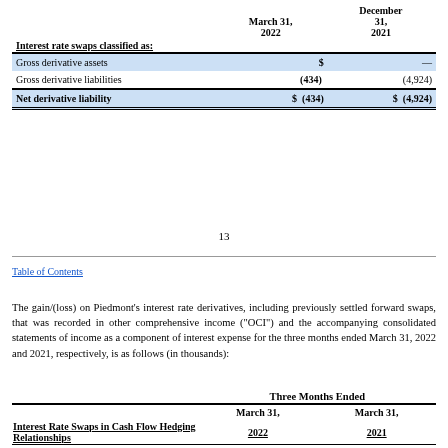| Interest rate swaps classified as: | March 31, 2022 | December 31, 2021 |
| --- | --- | --- |
| Gross derivative assets | $  — | $  — |
| Gross derivative liabilities | (434) | (4,924) |
| Net derivative liability | $  (434) | $  (4,924) |
13
Table of Contents
The gain/(loss) on Piedmont's interest rate derivatives, including previously settled forward swaps, that was recorded in other comprehensive income ("OCI") and the accompanying consolidated statements of income as a component of interest expense for the three months ended March 31, 2022 and 2021, respectively, is as follows (in thousands):
| Interest Rate Swaps in Cash Flow Hedging Relationships | Three Months Ended March 31, 2022 | Three Months Ended March 31, 2021 |
| --- | --- | --- |